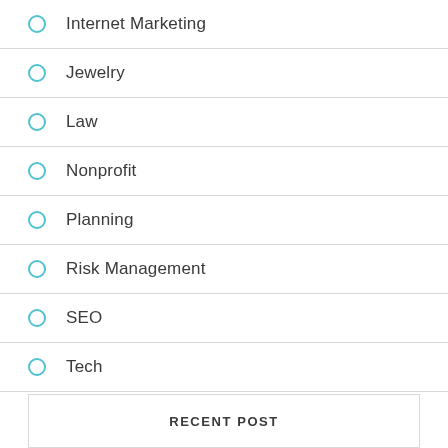Internet Marketing
Jewelry
Law
Nonprofit
Planning
Risk Management
SEO
Tech
RECENT POST